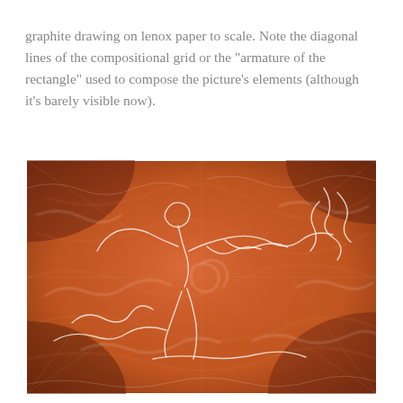graphite drawing on lenox paper to scale. Note the diagonal lines of the compositional grid or the "armature of the rectangle" used to compose the picture's elements (although it's barely visible now).
[Figure (photo): A graphite drawing on lenox paper with an orange-red background. The drawing shows faint white swirling lines depicting a figure or creature, with the diagonal compositional grid lines (armature of the rectangle) barely visible across the warm orange-toned paper.]